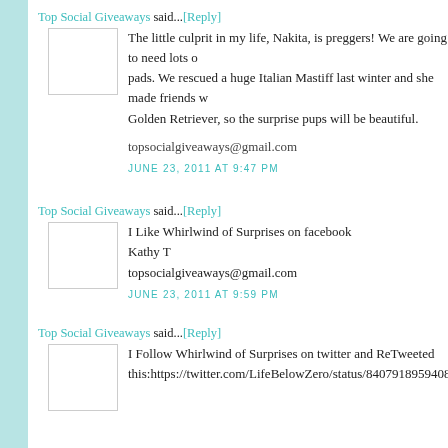Top Social Giveaways said...[Reply]
The little culprit in my life, Nakita, is preggers! We are going to need lots of pads. We rescued a huge Italian Mastiff last winter and she made friends with a Golden Retriever, so the surprise pups will be beautiful.
topsocialgiveaways@gmail.com
JUNE 23, 2011 AT 9:47 PM
Top Social Giveaways said...[Reply]
I Like Whirlwind of Surprises on facebook
Kathy T
topsocialgiveaways@gmail.com
JUNE 23, 2011 AT 9:59 PM
Top Social Giveaways said...[Reply]
I Follow Whirlwind of Surprises on twitter and ReTweeted this:https://twitter.com/LifeBelowZero/status/84079189594087424